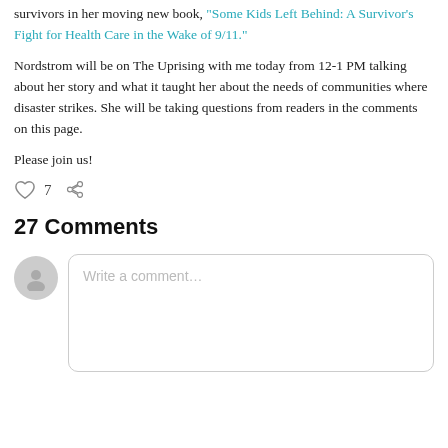survivors in her moving new book, "Some Kids Left Behind: A Survivor's Fight for Health Care in the Wake of 9/11."
Nordstrom will be on The Uprising with me today from 12-1 PM talking about her story and what it taught her about the needs of communities where disaster strikes. She will be taking questions from readers in the comments on this page.
Please join us!
[Figure (infographic): Heart (like) icon followed by count 7, and a share icon]
27 Comments
[Figure (other): Comment input area with user avatar and placeholder text 'Write a comment...']